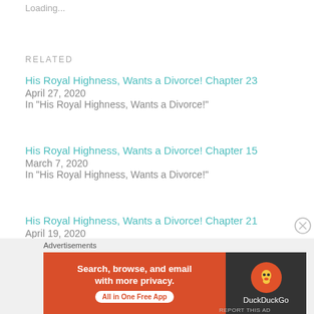Loading...
RELATED
His Royal Highness, Wants a Divorce! Chapter 23
April 27, 2020
In "His Royal Highness, Wants a Divorce!"
His Royal Highness, Wants a Divorce! Chapter 15
March 7, 2020
In "His Royal Highness, Wants a Divorce!"
His Royal Highness, Wants a Divorce! Chapter 21
April 19, 2020
In "His Royal Highness, Wants a Divorce!"
[Figure (screenshot): DuckDuckGo advertisement banner with orange background reading 'Search, browse, and email with more privacy. All in One Free App' and DuckDuckGo logo on dark background]
Advertisements